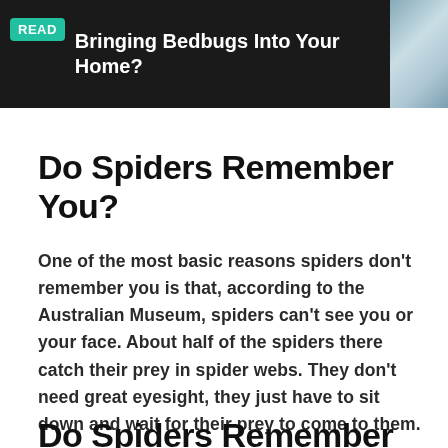[Figure (screenshot): Banner with dark background showing READ badge in teal and article title 'Bringing Bedbugs Into Your Home?' with a bedroom image on the right]
Do Spiders Remember You?
One of the most basic reasons spiders don't remember you is that, according to the Australian Museum, spiders can't see you or your face. About half of the spiders there catch their prey in spider webs. They don't need great eyesight, they just have to sit down and wait for their prey to come to them.
Do Spiders Remember You?